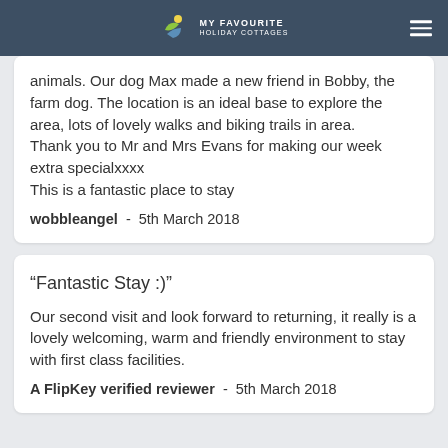MY FAVOURITE HOLIDAY COTTAGES
animals. Our dog Max made a new friend in Bobby, the farm dog. The location is an ideal base to explore the area, lots of lovely walks and biking trails in area.
Thank you to Mr and Mrs Evans for making our week extra specialxxxx
This is a fantastic place to stay
wobbleangel  -  5th March 2018
“Fantastic Stay :)”
Our second visit and look forward to returning, it really is a lovely welcoming, warm and friendly environment to stay with first class facilities.
A FlipKey verified reviewer  -  5th March 2018